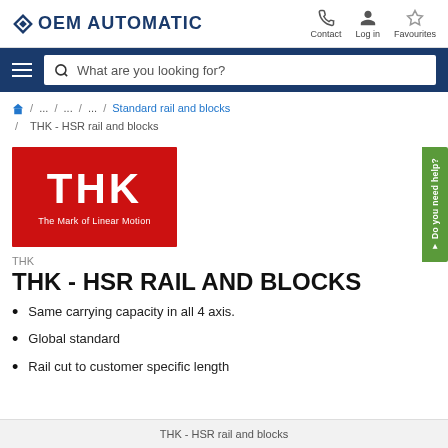OEM AUTOMATIC — Contact, Log in, Favourites
What are you looking for?
/ ... / ... / ... / Standard rail and blocks / THK - HSR rail and blocks
[Figure (logo): THK logo — red background with white THK letters and tagline 'The Mark of Linear Motion']
THK
THK - HSR RAIL AND BLOCKS
Same carrying capacity in all 4 axis.
Global standard
Rail cut to customer specific length
THK - HSR rail and blocks